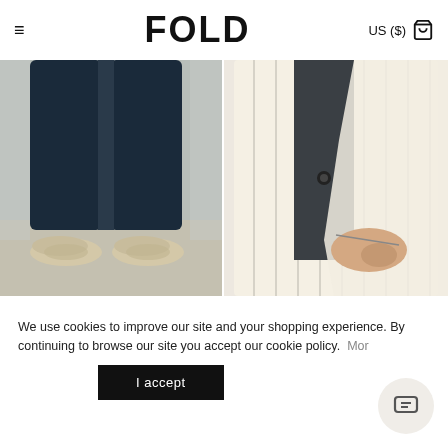≡  FOLD  US ($) 🛍
[Figure (photo): Lower half of a person wearing wide-leg dark indigo denim trousers and cream/beige sneakers, standing on a light grey floor against a white wall]
[Figure (photo): Close-up of a person wearing a cream and black pinstripe cotton linen blazer jacket with hand in pocket, over a dark top]
Denim Wide-Leg Sailor Trousers Indigo
$275.00
Dovercourt Jacket Ecru And Black Pinstripe Cotton Linen
$525.00  $370.00
We use cookies to improve our site and your shopping experience. By continuing to browse our site you accept our cookie policy.  More
I accept